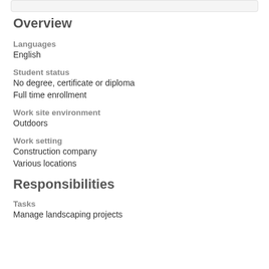Overview
Languages
English
Student status
No degree, certificate or diploma
Full time enrollment
Work site environment
Outdoors
Work setting
Construction company
Various locations
Responsibilities
Tasks
Manage landscaping projects